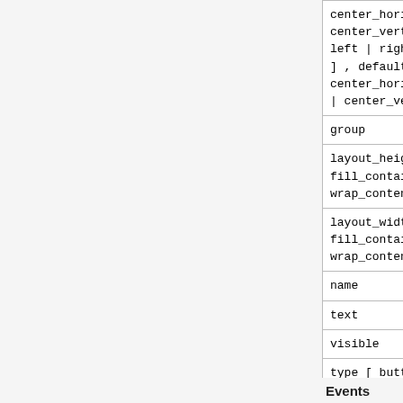| center_horizontal | center_vertical | left | right | top ] , default center_horizontal | center_vertical | Read-only array |
| group | Read-only |
| layout_height [ fill_container | wrap_content ] |  |
| layout_width [ fill_container | wrap_content ] |  |
| name |  |
| text |  |
| visible | true/false |
| type [ button | check | edit | label | list | radio ] | Read-only |
Events